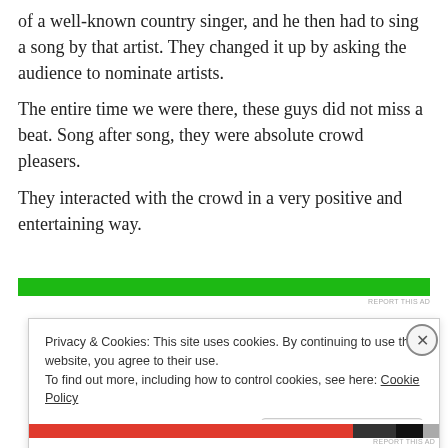of a well-known country singer, and he then had to sing a song by that artist. They changed it up by asking the audience to nominate artists.
The entire time we were there, these guys did not miss a beat. Song after song, they were absolute crowd pleasers.
They interacted with the crowd in a very positive and entertaining way.
[Figure (other): Green advertisement banner bar with 'REPORT THIS AD' label]
Privacy & Cookies: This site uses cookies. By continuing to use this website, you agree to their use.
To find out more, including how to control cookies, see here: Cookie Policy
Close and accept
[Figure (other): Red/black advertisement banner bar at bottom with 'REPORT THIS AD' label]